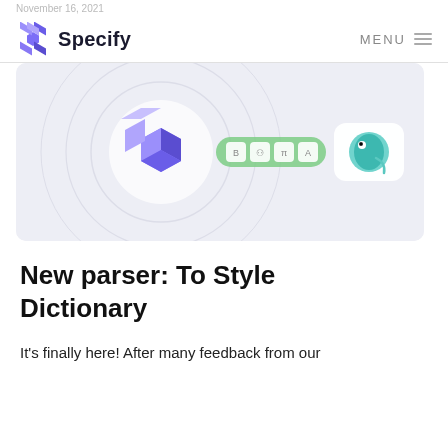November 16, 2021
Specify   MENU
[Figure (illustration): Hero illustration showing the Specify logo (purple 3D cube lattice) connected via a green pill-shaped pipeline with four icon boxes to a chameleon app icon on a white rounded rectangle card, against a light gray background with concentric circles.]
New parser: To Style Dictionary
It's finally here! After many feedback from our